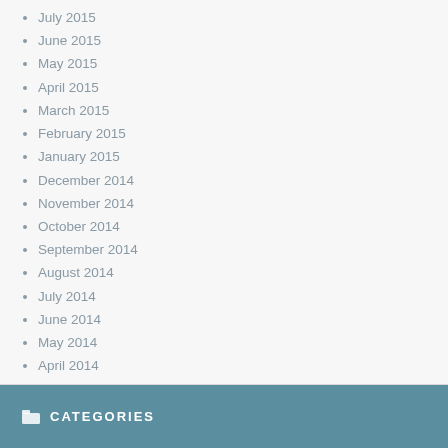July 2015
June 2015
May 2015
April 2015
March 2015
February 2015
January 2015
December 2014
November 2014
October 2014
September 2014
August 2014
July 2014
June 2014
May 2014
April 2014
March 2014
CATEGORIES